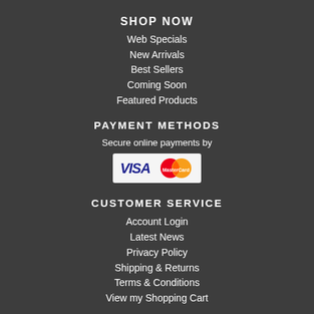SHOP NOW
Web Specials
New Arrivals
Best Sellers
Coming Soon
Featured Products
PAYMENT METHODS
Secure online payments by
[Figure (logo): Visa and MasterCard payment logos on a light background]
CUSTOMER SERVICE
Account Login
Latest News
Privacy Policy
Shipping & Returns
Terms & Conditions
View my Shopping Cart